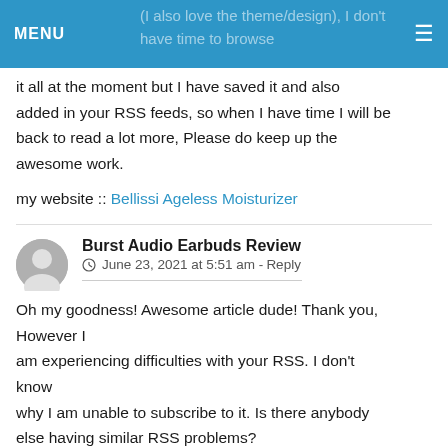MENU
(I also love the theme/design), I don't have time to browse it all at the moment but I have saved it and also added in your RSS feeds, so when I have time I will be back to read a lot more, Please do keep up the awesome work.

my website :: Bellissi Ageless Moisturizer
Burst Audio Earbuds Review
June 23, 2021 at 5:51 am - Reply

Oh my goodness! Awesome article dude! Thank you, However I am experiencing difficulties with your RSS. I don't know why I am unable to subscribe to it. Is there anybody else having similar RSS problems?